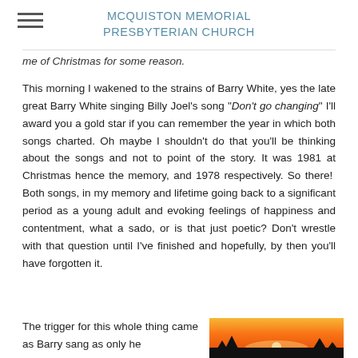MCQUISTON MEMORIAL PRESBYTERIAN CHURCH
me of Christmas for some reason.
This morning I wakened to the strains of Barry White, yes the late great Barry White singing Billy Joel's song "Don't go changing" I'll award you a gold star if you can remember the year in which both songs charted. Oh maybe I shouldn't do that you'll be thinking about the songs and not to point of the story. It was 1981 at Christmas hence the memory, and 1978 respectively. So there!  Both songs, in my memory and lifetime going back to a significant period as a young adult and evoking feelings of happiness and contentment, what a sado, or is that just poetic? Don't wrestle with that question until I've finished and hopefully, by then you'll have forgotten it.
The trigger for this whole thing came as Barry sang as only he
[Figure (photo): Sunset photo showing orange and yellow sky over a dark landscape horizon]